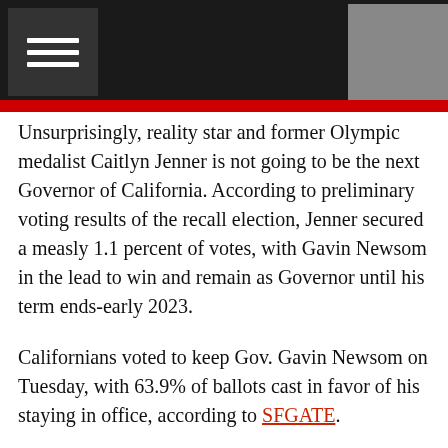Navigation header with menu icon
Unsurprisingly, reality star and former Olympic medalist Caitlyn Jenner is not going to be the next Governor of California. According to preliminary voting results of the recall election, Jenner secured a measly 1.1 percent of votes, with Gavin Newsom in the lead to win and remain as Governor until his term ends-early 2023.
Californians voted to keep Gov. Gavin Newsom on Tuesday, with 63.9% of ballots cast in favor of his staying in office, according to SFGATE.
Although Jenner was the candidate with the highest name recognition in the nation (let's face it, you would hate to admit this...